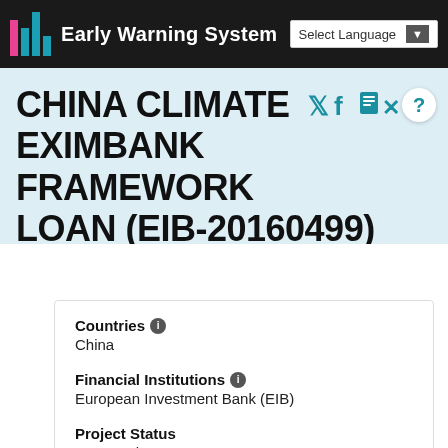Early Warning System
CHINA CLIMATE EXIMBANK FRAMEWORK LOAN (EIB-20160499)
Countries
China
Financial Institutions
European Investment Bank (EIB)
Project Status
Proposed
Bank Risk Rating
U